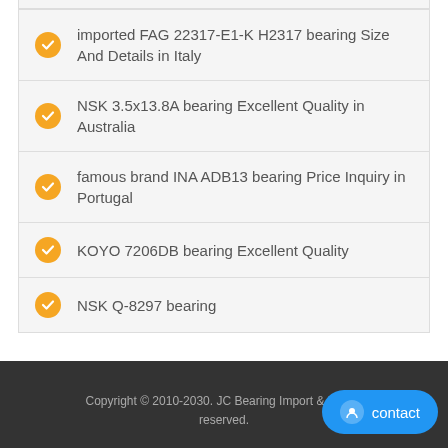imported FAG 22317-E1-K H2317 bearing Size And Details in Italy
NSK 3.5x13.8A bearing Excellent Quality in Australia
famous brand INA ADB13 bearing Price Inquiry in Portugal
KOYO 7206DB bearing Excellent Quality
NSK Q-8297 bearing
Copyright © 2010-2030. JC Bearing Import & Export reserved.